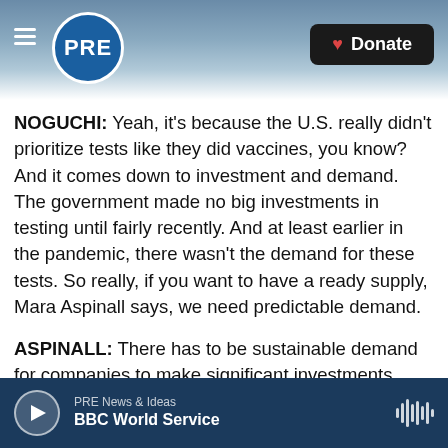[Figure (screenshot): PRE radio app header with logo and Donate button over ocean wave background]
NOGUCHI: Yeah, it's because the U.S. really didn't prioritize tests like they did vaccines, you know? And it comes down to investment and demand. The government made no big investments in testing until fairly recently. And at least earlier in the pandemic, there wasn't the demand for these tests. So really, if you want to have a ready supply, Mara Aspinall says, we need predictable demand.
ASPINALL: There has to be sustainable demand for companies to make significant investments.
NOGUCHI: And what she means by that is, you
PRE News & Ideas | BBC World Service